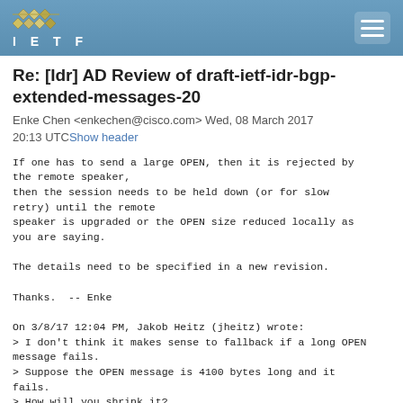IETF
Re: [Idr] AD Review of draft-ietf-idr-bgp-extended-messages-20
Enke Chen <enkechen@cisco.com> Wed, 08 March 2017 20:13 UTCShow header
If one has to send a large OPEN, then it is rejected by the remote speaker,
then the session needs to be held down (or for slow retry) until the remote
speaker is upgraded or the OPEN size reduced locally as you are saying.

The details need to be specified in a new revision.

Thanks.  -- Enke

On 3/8/17 12:04 PM, Jakob Heitz (jheitz) wrote:
> I don't think it makes sense to fallback if a long OPEN message fails.
> Suppose the OPEN message is 4100 bytes long and it fails.
> How will you shrink it?